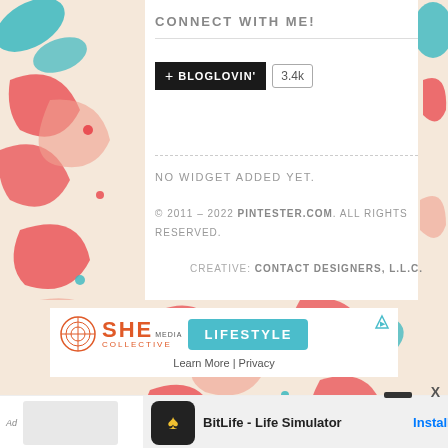CONNECT WITH ME!
[Figure (logo): Bloglovin follow button with black background showing '+ BLOGLOVIN'' and a count badge showing '3.4k']
NO WIDGET ADDED YET.
© 2011 – 2022 PINTESTER.COM. ALL RIGHTS RESERVED.
CREATIVE: CONTACT DESIGNERS, L.L.C.
[Figure (infographic): SHE Media LIFESTYLE ad banner with teal Lifestyle button and circular SHE Collective logo in orange]
Learn More | Privacy
[Figure (photo): BitLife - Life Simulator app advertisement with game screenshot and Install button]